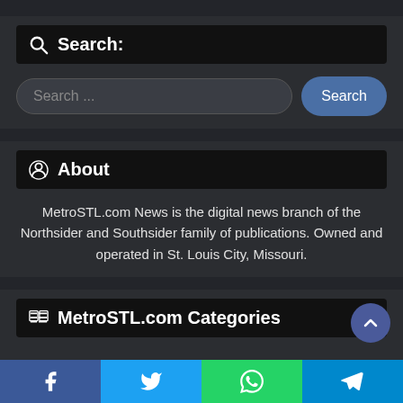Search:
Search ...
About
MetroSTL.com News is the digital news branch of the Northsider and Southsider family of publications. Owned and operated in St. Louis City, Missouri.
MetroSTL.com Categories
Facebook Twitter WhatsApp Telegram